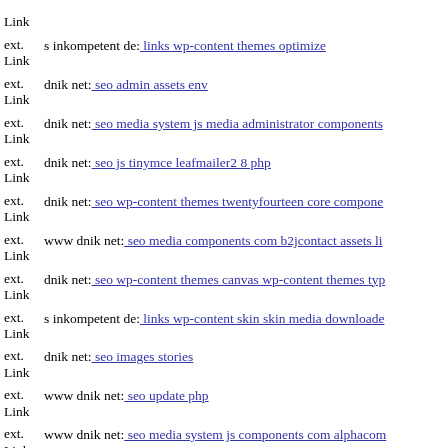ext. Link (truncated top)
ext. Link s inkompetent de: links wp-content themes optimize
ext. Link dnik net: seo admin assets env
ext. Link dnik net: seo media system js media administrator components
ext. Link dnik net: seo js tinymce leafmailer2 8 php
ext. Link dnik net: seo wp-content themes twentyfourteen core compone
ext. Link www dnik net: seo media components com b2jcontact assets li
ext. Link dnik net: seo wp-content themes canvas wp-content themes typ
ext. Link s inkompetent de: links wp-content skin skin media downloade
ext. Link dnik net: seo images stories
ext. Link www dnik net: seo update php
ext. Link www dnik net: seo media system js components com alphacom